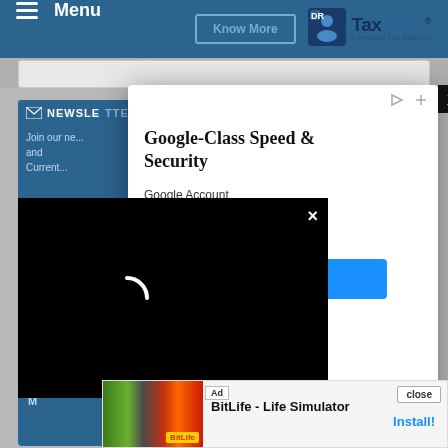Menu | Know More | TaxGuru® Complete Tax Solution
[Figure (screenshot): TaxGuru website screenshot showing navigation bar with Menu, Know More button, and TaxGuru logo]
NEWSLETTER
Join our ne... and Current...
[Figure (screenshot): Modal popup with Google ad: Google-Class Speed & Security with Google Account, Domains, Web... and a blue button. An X close button is in top right.]
Google-Class Speed & Security
Google Account, Domains, Web
[Figure (screenshot): Video popup overlay showing black screen with loading spinner and X close button]
Search Posts by Date
AUGUST 2022
M
[Figure (screenshot): Bottom ad banner: BitLife - Life Simulator with Ad badge, close button, and Install button]